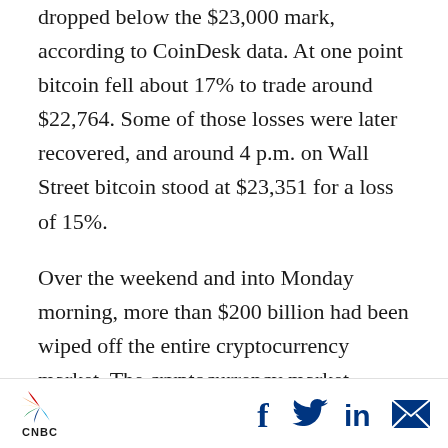dropped below the $23,000 mark, according to CoinDesk data. At one point bitcoin fell about 17% to trade around $22,764. Some of those losses were later recovered, and around 4 p.m. on Wall Street bitcoin stood at $23,351 for a loss of 15%.
Over the weekend and into Monday morning, more than $200 billion had been wiped off the entire cryptocurrency market. The cryptocurrency market capitalization fell below $1 trillion on Monday for the first time since February 2021, according to data from CoinMarketCap.
CNBC logo with social media icons: Facebook, Twitter, LinkedIn, Email